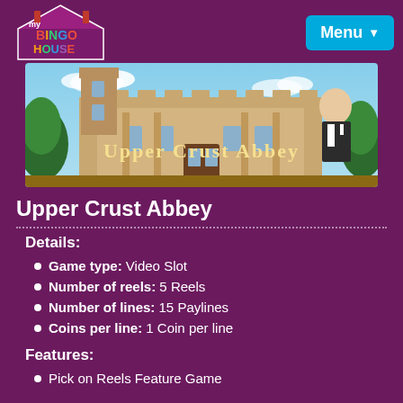[Figure (logo): My Bingo House logo with colorful letters on a house shape]
[Figure (screenshot): Upper Crust Abbey game banner showing a stately building with a butler character]
Upper Crust Abbey
Details:
Game type: Video Slot
Number of reels: 5 Reels
Number of lines: 15 Paylines
Coins per line: 1 Coin per line
Features:
Pick on Reels Feature Game